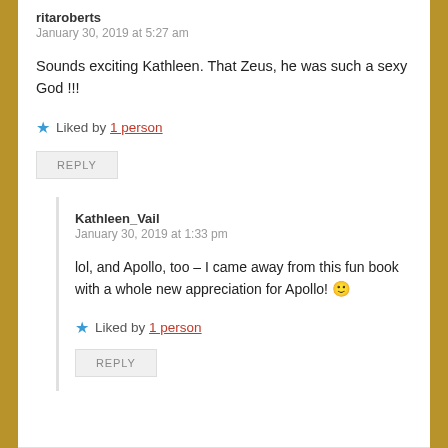ritaroberts
January 30, 2019 at 5:27 am
Sounds exciting Kathleen. That Zeus, he was such a sexy God !!!
★ Liked by 1 person
REPLY
Kathleen_Vail
January 30, 2019 at 1:33 pm
lol, and Apollo, too – I came away from this fun book with a whole new appreciation for Apollo! 🙂
★ Liked by 1 person
REPLY